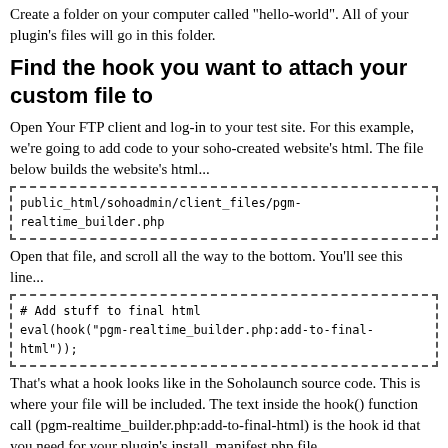Create a folder on your computer called "hello-world". All of your plugin's files will go in this folder.
Find the hook you want to attach your custom file to
Open Your FTP client and log-in to your test site. For this example, we're going to add code to your soho-created website's html. The file below builds the website's html...
public_html/sohoadmin/client_files/pgm-realtime_builder.php
Open that file, and scroll all the way to the bottom. You'll see this line...
# Add stuff to final html
eval(hook("pgm-realtime_builder.php:add-to-final-html"));
That's what a hook looks like in the Soholaunch source code. This is where your file will be included. The text inside the hook() function call (pgm-realtime_builder.php:add-to-final-html) is the hook id that you need for your plugin's install_manifest.php file.